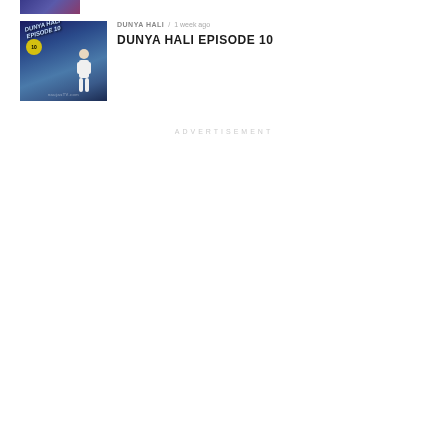[Figure (screenshot): Thumbnail image of a TV show partially visible at top]
[Figure (screenshot): Thumbnail image for Dunya Hali Episode 10, showing show title text and a figure against a blue/purple background]
DUNYA HALI / 1 week ago
DUNYA HALi EPISODE 10
ADVERTISEMENT